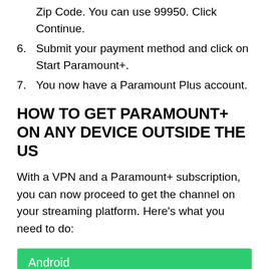Zip Code. You can use 99950. Click Continue.
6. Submit your payment method and click on Start Paramount+.
7. You now have a Paramount Plus account.
HOW TO GET PARAMOUNT+ ON ANY DEVICE OUTSIDE THE US
With a VPN and a Paramount+ subscription, you can now proceed to get the channel on your streaming platform. Here's what you need to do:
Android
Paramount+ has a dedicated application on